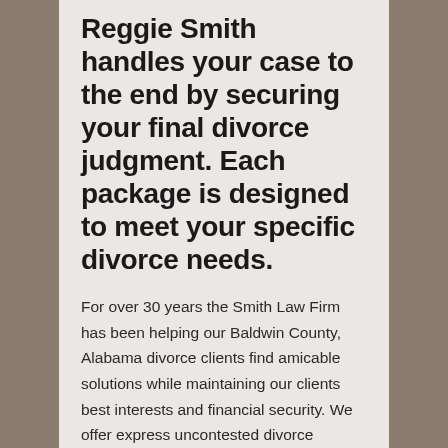Reggie Smith handles your case to the end by securing your final divorce judgment. Each package is designed to meet your specific divorce needs.
For over 30 years the Smith Law Firm has been helping our Baldwin County, Alabama divorce clients find amicable solutions while maintaining our clients best interests and financial security. We offer express uncontested divorce packages for couples married in